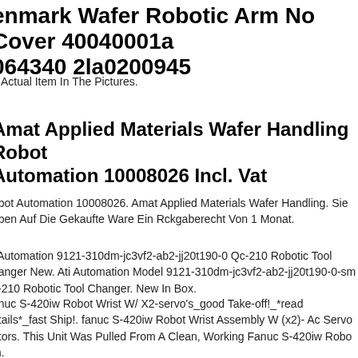enmark Wafer Robotic Arm No Cover 40040001a 064340 2la0200945
e Actual Item In The Pictures.
Amat Applied Materials Wafer Handling Robot Automation 10008026 Incl. Vat
obot Automation 10008026. Amat Applied Materials Wafer Handling. Sie aben Auf Die Gekaufte Ware Ein Rckgaberecht Von 1 Monat.
i Automation 9121-310dm-jc3vf2-ab2-jj20t190-0 Qc-210 Robotic Tool hanger New. Ati Automation Model 9121-310dm-jc3vf2-ab2-jj20t190-0-sm c-210 Robotic Tool Changer. New In Box.
anuc S-420iw Robot Wrist W/ X2-servo's_good Take-off!_*read etails*_fast Ship!. fanuc S-420iw Robot Wrist Assembly W (x2)- Ac Servo otors. This Unit Was Pulled From A Clean, Working Fanuc S-420iw Robo m.